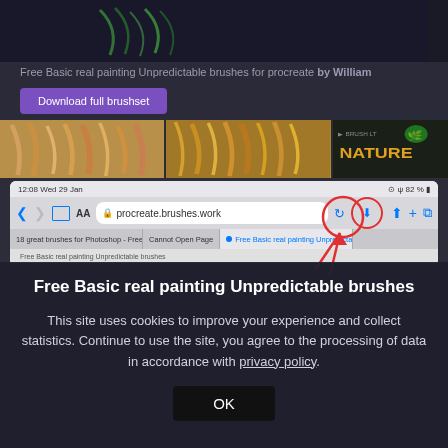[Figure (screenshot): Screenshot of a website showing brush downloads for Procreate, with a dark background, a purple download button, and three thumbnail images of brush strokes]
Free Basic real painting Unpredictable brushes for procreate by William
[Figure (screenshot): Mobile browser (Safari on iPad) showing procreate.brushes.work URL bar with a download icon circled in red with an arrow annotation pointing to it. Tabs show: 18 great brushes for Photoshop - Free Ph..., Cannot Open Page, Free Basic real painting Unpredictabl...]
Free Basic real painting Unpredictable brushes
This site uses cookies to improve your experience and collect statistics. Continue to use the site, you agree to the processing of data in accordance with privacy policy.
OK